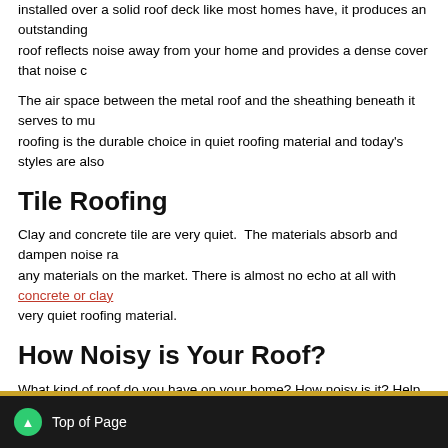installed over a solid roof deck like most homes have, it produces an outstanding roof reflects noise away from your home and provides a dense cover that noise c
The air space between the metal roof and the sheathing beneath it serves to mu roofing is the durable choice in quiet roofing material and today's styles are also
Tile Roofing
Clay and concrete tile are very quiet. The materials absorb and dampen noise r any materials on the market. There is almost no echo at all with concrete or clay very quiet roofing material.
How Noisy is Your Roof?
What kind of roof do you have on your home? How noisy is it? Help your neighbo quietest roofing materials by sharing yours below.
TAGGED WITH NOISE, NOISY ROOF, QUIET, QUIET ROOF, TYPES
Comments are closed.
Top of Page